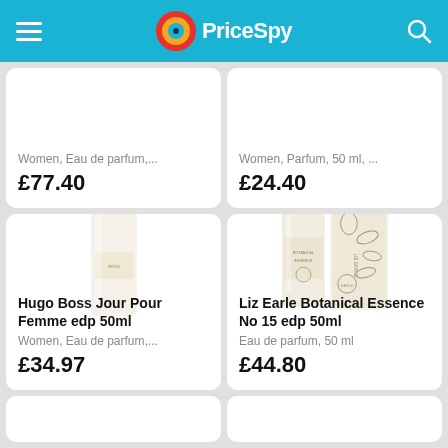PriceSpy
Women, Eau de parfum,...
£77.40
Women, Parfum, 50 ml, ...
£24.40
[Figure (photo): Hugo Boss Jour Pour Femme perfume bottle, tall rectangular cream/white bottle with gold cap]
Hugo Boss Jour Pour Femme edp 50ml
Women, Eau de parfum,...
£34.97
[Figure (photo): Liz Earle Botanical Essence No 15 perfume bottle with botanical illustrated box]
Liz Earle Botanical Essence No 15 edp 50ml
Eau de parfum, 50 ml
£44.80